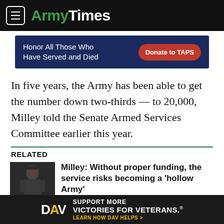ArmyTimes
[Figure (infographic): TAPS donation banner ad: dark navy background, text 'Honor All Those Who Have Served and Died', red oval button 'Donate to TAPS']
In five years, the Army has been able to get the number down two-thirds — to 20,000, Milley told the Senate Armed Services Committee earlier this year.
RELATED
[Figure (photo): Photo of General Milley in military uniform]
Milley: Without proper funding, the service risks becoming a 'hollow Army'
The Army is on its way to bringing its total numbers back up to over a million soldiers, but it needs stead...
[Figure (infographic): DAV advertisement: dark background, DAV logo, text 'SUPPORT MORE VICTORIES FOR VETERANS.' and 'LEARN HOW DAV HELPS >']